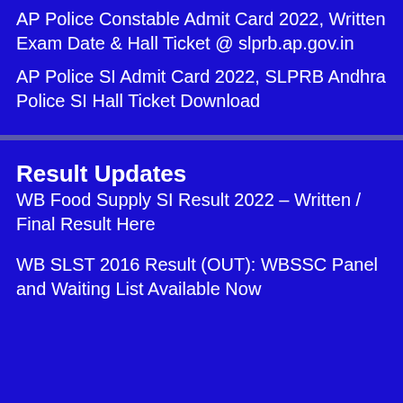AP Police Constable Admit Card 2022, Written Exam Date & Hall Ticket @ slprb.ap.gov.in
AP Police SI Admit Card 2022, SLPRB Andhra Police SI Hall Ticket Download
Result Updates
WB Food Supply SI Result 2022 – Written / Final Result Here
WB SLST 2016 Result (OUT): WBSSC Panel and Waiting List Available Now